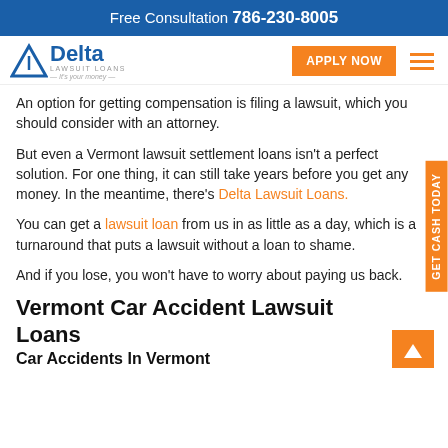Free Consultation 786-230-8005
[Figure (logo): Delta Lawsuit Loans logo with blue triangle and text]
An option for getting compensation is filing a lawsuit, which you should consider with an attorney.
But even a Vermont lawsuit settlement loans isn't a perfect solution. For one thing, it can still take years before you get any money. In the meantime, there's Delta Lawsuit Loans.
You can get a lawsuit loan from us in as little as a day, which is a turnaround that puts a lawsuit without a loan to shame.
And if you lose, you won't have to worry about paying us back.
Vermont Car Accident Lawsuit Loans
Car Accidents In Vermont